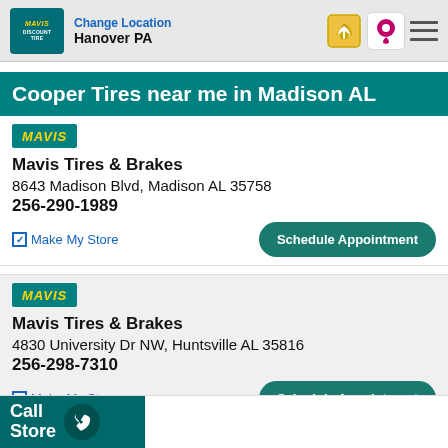Change Location — Hanover PA
Cooper Tires near me in Madison AL
Mavis Tires & Brakes
8643 Madison Blvd, Madison AL 35758
256-290-1989
Make My Store | Schedule Appointment
Mavis Tires & Brakes
4830 University Dr NW, Huntsville AL 35816
256-298-7310
Make My Store | Schedule Appointment
Call Store